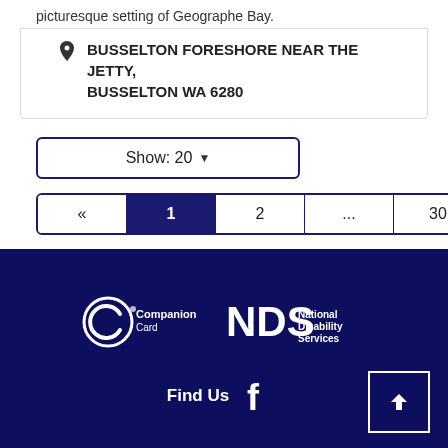picturesque setting of Geographe Bay.
BUSSELTON FORESHORE NEAR THE JETTY, BUSSELTON WA 6280
Show: 20
« 1 2 ... 30 »
[Figure (logo): Companion Card and NDS National Disability Services logos on dark navy background]
Find Us
[Figure (logo): Facebook icon]
[Figure (other): Scroll to top button with upward arrow]